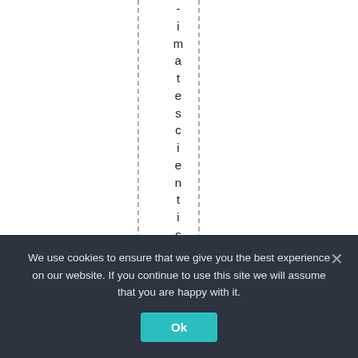imatescientists, ab
We use cookies to ensure that we give you the best experience on our website. If you continue to use this site we will assume that you are happy with it.